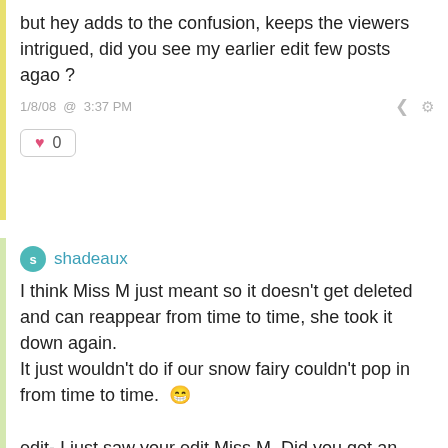but hey adds to the confusion, keeps the viewers intrigued, did you see my earlier edit few posts agao ?
1/8/08 @ 3:37 PM
♥ 0
shadeaux
I think Miss M just meant so it doesn't get deleted and can reappear from time to time, she took it down again.
It just wouldn't do if our snow fairy couldn't pop in from time to time. 😁

edit- I just saw your edit Miss M. Did you get an email or something?